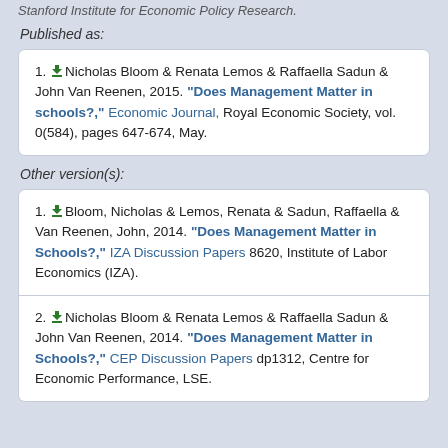Stanford Institute for Economic Policy Research.
Published as:
1. Nicholas Bloom & Renata Lemos & Raffaella Sadun & John Van Reenen, 2015. "Does Management Matter in schools?," Economic Journal, Royal Economic Society, vol. 0(584), pages 647-674, May.
Other version(s):
1. Bloom, Nicholas & Lemos, Renata & Sadun, Raffaella & Van Reenen, John, 2014. "Does Management Matter in Schools?," IZA Discussion Papers 8620, Institute of Labor Economics (IZA).
2. Nicholas Bloom & Renata Lemos & Raffaella Sadun & John Van Reenen, 2014. "Does Management Matter in Schools?," CEP Discussion Papers dp1312, Centre for Economic Performance, LSE.